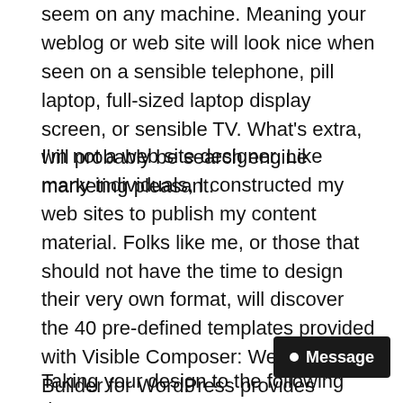seem on any machine. Meaning your weblog or web site will look nice when seen on a sensible telephone, pill laptop, full-sized laptop display screen, or sensible TV. What's extra, will probably be search engine marketing pleasant.
I'm not a web site designer. Like many individuals, I constructed my web sites to publish my content material. Folks like me, or those that should not have the time to design their very own format, will discover the 40 pre-defined templates provided with Visible Composer: Web page Builder for WordPress provides greater than sufficient selection with out having to dabble in design, programming, or brief codes! You even have the choice of including visible composer add-ons to reinforce your design.
Taking your design to the following degree: